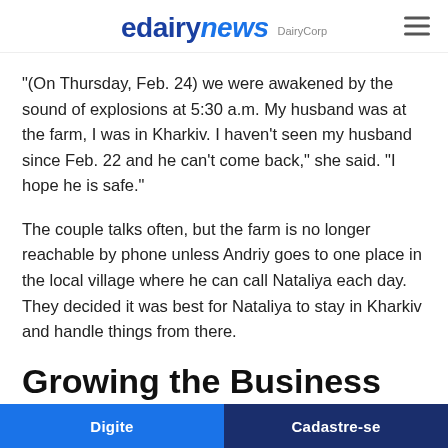edairynews DairyCorp
“(On Thursday, Feb. 24) we were awakened by the sound of explosions at 5:30 a.m. My husband was at the farm, I was in Kharkiv. I haven’t seen my husband since Feb. 22 and he can’t come back,” she said. “I hope he is safe.”
The couple talks often, but the farm is no longer reachable by phone unless Andriy goes to one place in the local village where he can call Nataliya each day. They decided it was best for Nataliya to stay in Kharkiv and handle things from there.
Growing the Business
At the beginning of 2022, the Kovals were successfully
Digite    Cadastre-se